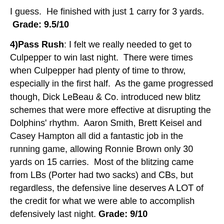I guess.  He finished with just 1 carry for 3 yards.
 Grade: 9.5/10
4)Pass Rush: I felt we really needed to get to Culpepper to win last night.  There were times when Culpepper had plenty of time to throw, especially in the first half.  As the game progressed though, Dick LeBeau & Co. introduced new blitz schemes that were more effective at disrupting the Dolphins' rhythm.  Aaron Smith, Brett Keisel and Casey Hampton all did a fantastic job in the running game, allowing Ronnie Brown only 30 yards on 15 carries.  Most of the blitzing came from LBs (Porter had two sacks) and CBs, but regardless, the defensive line deserves A LOT of the credit for what we were able to accomplish defensively last night. Grade: 9/10